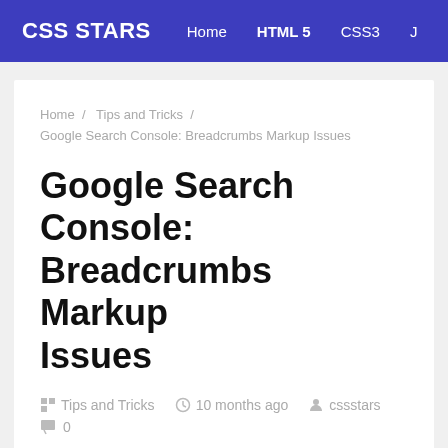CSS STARS  Home  HTML 5  CSS3
Home / Tips and Tricks / Google Search Console: Breadcrumbs Markup Issues
Google Search Console: Breadcrumbs Markup Issues
Tips and Tricks  10 months ago  cssstars  0